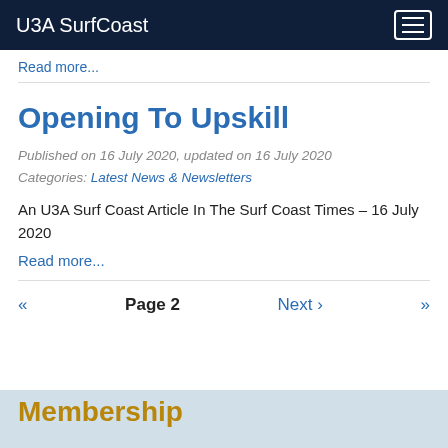U3A SurfCoast
Read more...
Opening To Upskill
Published on 16 July 2020, updated on 16 July 2020
Categories: Latest News & Newsletters
An U3A Surf Coast Article In The Surf Coast Times – 16 July 2020
Read more...
«   Page 2   Next ›   »